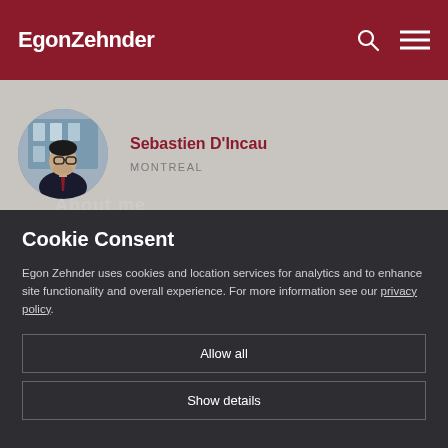EgonZehnder
[Figure (photo): Circular profile photo of Sebastien D'Incau, a man in a dark suit with glasses]
Sebastien D'Incau
MONTREAL
Cookie Consent
Egon Zehnder uses cookies and location services for analytics and to enhance site functionality and overall experience. For more information see our privacy policy.
Allow all
Show details